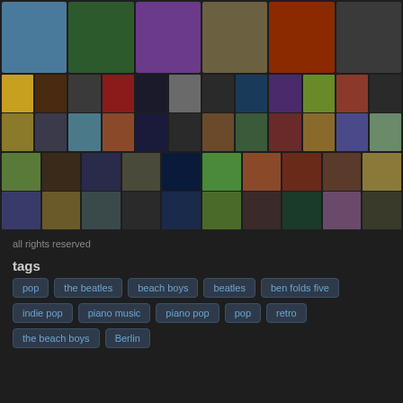[Figure (photo): Grid of album art and artist photos arranged in rows on a dark background]
all rights reserved
tags
pop
the beatles
beach boys
beatles
ben folds five
indie pop
piano music
piano pop
pop
retro
the beach boys
Berlin